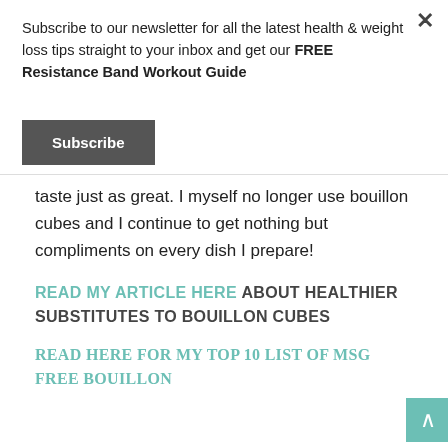Subscribe to our newsletter for all the latest health & weight loss tips straight to your inbox and get our FREE Resistance Band Workout Guide
Subscribe
taste just as great. I myself no longer use bouillon cubes and I continue to get nothing but compliments on every dish I prepare!
READ MY ARTICLE HERE ABOUT HEALTHIER SUBSTITUTES TO BOUILLON CUBES
READ HERE FOR MY TOP 10 LIST OF MSG FREE BOUILLON